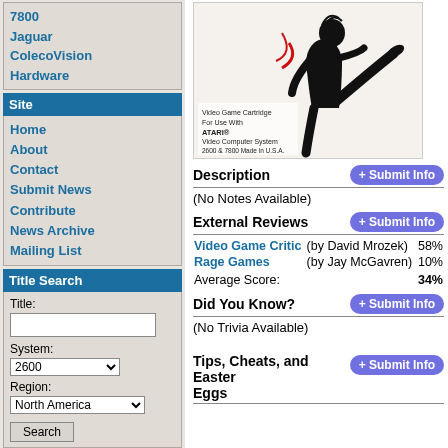7800
Jaguar
ColecoVision
Hardware
Site
Home
About
Contact
Submit News
Contribute
News Archive
Mailing List
Title Search
Title: [input] System: 2600 Region: North America [Search button]
[Figure (illustration): Video game cartridge box art showing a karate fighter kicking, with text: Video Game Cartridge For Use With ATARI Video Computer System 2600 & 7800 Made in U.S.A.]
Description
(No Notes Available)
External Reviews
| Reviewer | By | Score |
| --- | --- | --- |
| Video Game Critic | (by David Mrozek) | 58% |
| Rage Games | (by Jay McGavren) | 10% |
| Average Score: |  | 34% |
Did You Know?
(No Trivia Available)
Tips, Cheats, and Easter Eggs